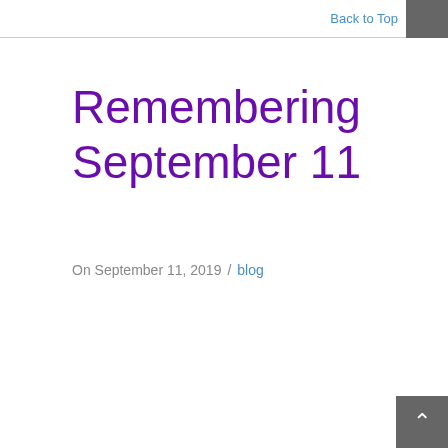Back to Top
Remembering September 11
On September 11, 2019  /  blog